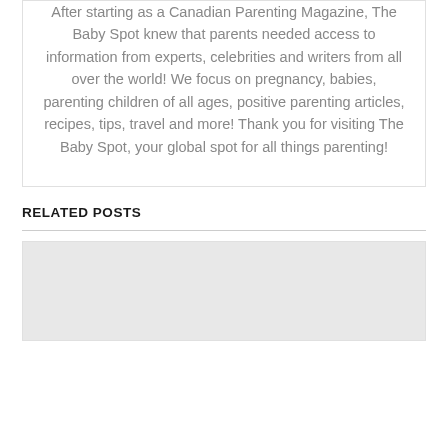After starting as a Canadian Parenting Magazine, The Baby Spot knew that parents needed access to information from experts, celebrities and writers from all over the world! We focus on pregnancy, babies, parenting children of all ages, positive parenting articles, recipes, tips, travel and more! Thank you for visiting The Baby Spot, your global spot for all things parenting!
RELATED POSTS
[Figure (photo): A placeholder/loading image block shown as a light gray rectangle, representing a related post thumbnail image.]